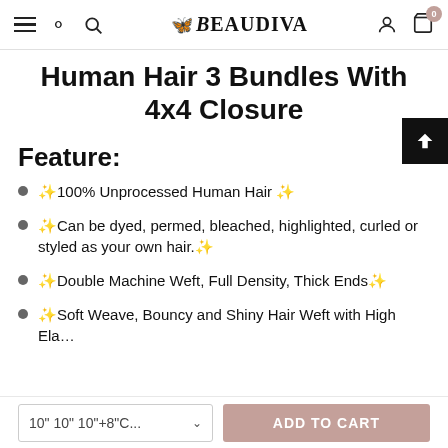Beaudiva — navigation header with hamburger menu, search, logo, account and cart (0) icons
Human Hair 3 Bundles With 4x4 Closure
Feature:
✨100% Unprocessed Human Hair ✨
✨Can be dyed, permed, bleached, highlighted, curled or styled as your own hair.✨
✨Double Machine Weft, Full Density, Thick Ends✨
✨Soft Weave, Bouncy and Shiny Hair Weft with High Elasticity.✨